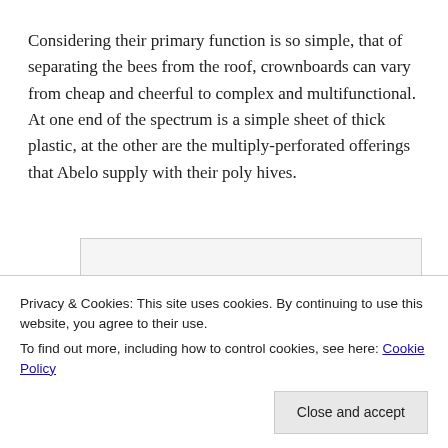Considering their primary function is so simple, that of separating the bees from the roof, crownboards can vary from cheap and cheerful to complex and multifunctional. At one end of the spectrum is a simple sheet of thick plastic, at the other are the multiply-perforated offerings that Abelo supply with their poly hives.
[Figure (other): A partially visible image placeholder with light gray background and border, content not visible.]
Privacy & Cookies: This site uses cookies. By continuing to use this website, you agree to their use.
To find out more, including how to control cookies, see here: Cookie Policy
Close and accept